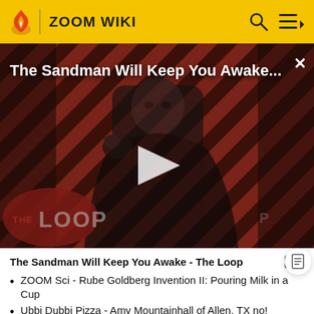ZOOM WIKI
[Figure (screenshot): Video thumbnail showing a dark-robed figure (Sandman character) against a diagonal red and black striped background, with 'The Loop' watermark in the lower left. A play button is centered on the image.]
The Sandman Will Keep You Awake - The Loop
ZOOM Sci - Rube Goldberg Invention II: Pouring Milk in a Cup
Ubbi Dubbi Pizza - Amy Mountainhall of Allen, TX no!